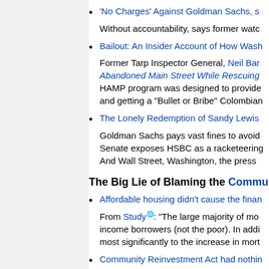'No Charges' Against Goldman Sachs, s... Without accountability, says former watc...
Bailout: An Insider Account of How Wash... Former Tarp Inspector General, Neil Bar... Abandoned Main Street While Rescuing... HAMP program was designed to provide... and getting a "Bullet or Bribe" Colombian...
The Lonely Redemption of Sandy Lewis Goldman Sachs pays vast fines to avoid... Senate exposes HSBC as a racketeering... And Wall Street, Washington, the press ...
The Big Lie of Blaming the Commu...
Affordable housing didn't cause the finan... From Study: "The large majority of mo... income borrowers (not the poor). In addi... most significantly to the increase in mort...
Community Reinvestment Act had nothin... The Community Reinvestment Act, pass...